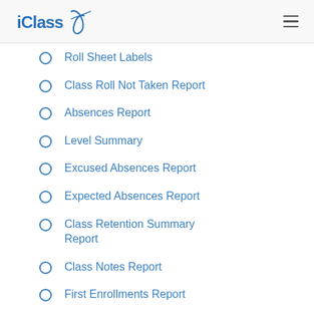iClassPro
Roll Sheet Labels
Class Roll Not Taken Report
Absences Report
Level Summary
Excused Absences Report
Expected Absences Report
Class Retention Summary Report
Class Notes Report
First Enrollments Report
Waitlist Report